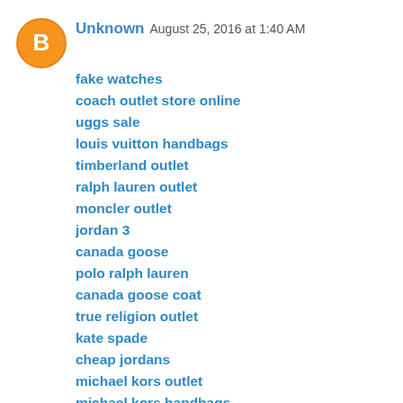Unknown  August 25, 2016 at 1:40 AM
fake watches
coach outlet store online
uggs sale
louis vuitton handbags
timberland outlet
ralph lauren outlet
moncler outlet
jordan 3
canada goose
polo ralph lauren
canada goose coat
true religion outlet
kate spade
cheap jordans
michael kors outlet
michael kors handbags
michael kors outlet
ray ban sunglasses
san antonio spurs jerseys
michael kors outlet